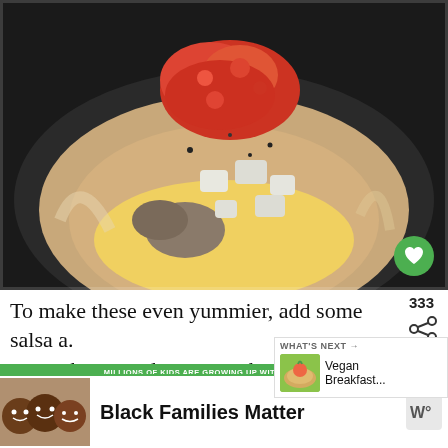[Figure (photo): Close-up photo of a breakfast taco in a tortilla bowl filled with scrambled eggs, mushrooms, diced cheese, and topped with red salsa, on a dark pan background.]
To make these even yummier, add some salsa a. more cheese and return to the oven for a few minutes, just until the cheese is melted.
[Figure (infographic): WHAT'S NEXT callout box showing a thumbnail of a vegan breakfast dish with text 'Vegan Breakfast...']
[Figure (infographic): Advertisement banner with green top bar reading 'MILLIONS OF KIDS ARE GROWING UP WITHOUT A MENTOR', photo of smiling children, and text 'Black Families Matter' with a brand logo.]